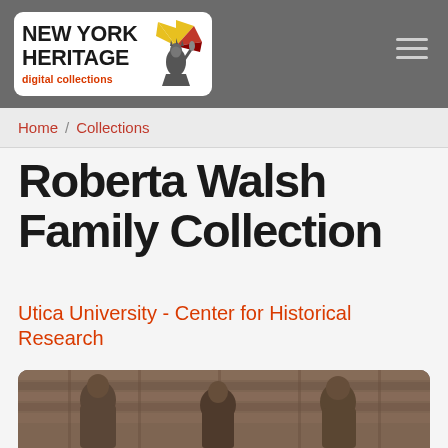[Figure (logo): New York Heritage Digital Collections logo — white rounded rectangle containing bold black text 'NEW YORK HERITAGE' with 'digital collections' in red below, and a Statue of Liberty torch graphic with yellow, red and dark fan shapes on the right.]
Home / Collections
Roberta Walsh Family Collection
Utica University - Center for Historical Research
[Figure (photo): Sepia-toned vintage photograph showing three people (two women and a man) standing in front of a wooden fence structure, partially cropped at the bottom of the page.]